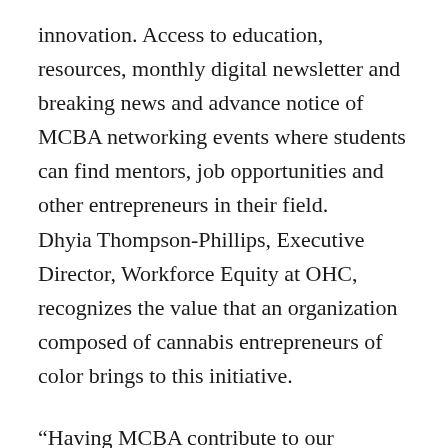innovation. Access to education, resources, monthly digital newsletter and breaking news and advance notice of MCBA networking events where students can find mentors, job opportunities and other entrepreneurs in their field. Dhyia Thompson-Phillips, Executive Director, Workforce Equity at OHC, recognizes the value that an organization composed of cannabis entrepreneurs of color brings to this initiative.
“Having MCBA contribute to our development ensures that our programs will have the depth of perspective that will ensure our graduates fully understand the opportunities and challenges ahead,” said Thompson-Phillips.